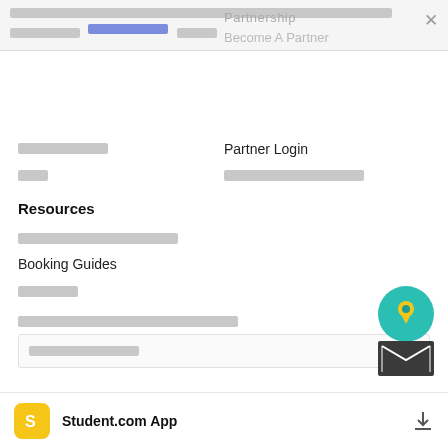[redacted notification text with link] [redacted]
Partnership
Become A Partner
[redacted]
Partner Login
[redacted]
[redacted]
Resources
[redacted]
Booking Guides
[redacted]
[redacted newsletter label]
[redacted placeholder]
Student.com App